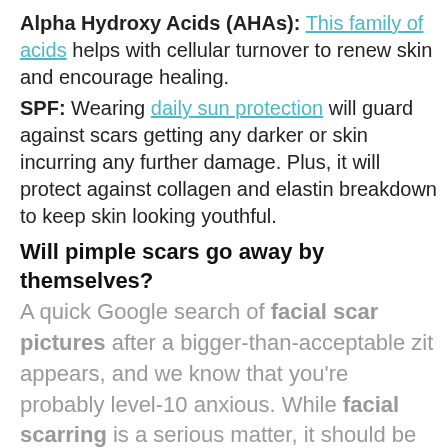Alpha Hydroxy Acids (AHAs): This family of acids helps with cellular turnover to renew skin and encourage healing.
SPF: Wearing daily sun protection will guard against scars getting any darker or skin incurring any further damage. Plus, it will protect against collagen and elastin breakdown to keep skin looking youthful.
Will pimple scars go away by themselves?
A quick Google search of facial scar pictures after a bigger-than-acceptable zit appears, and we know that you're probably level-10 anxious. While facial scarring is a serious matter, it should be noted that something like a small blemish on your